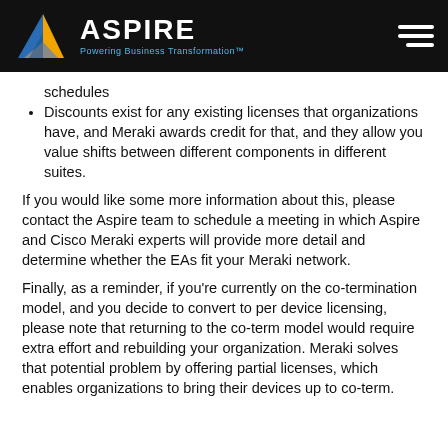ASPIRE — Powering Business Transformation™
schedules
Discounts exist for any existing licenses that organizations have, and Meraki awards credit for that, and they allow you value shifts between different components in different suites.
If you would like some more information about this, please contact the Aspire team to schedule a meeting in which Aspire and Cisco Meraki experts will provide more detail and determine whether the EAs fit your Meraki network.
Finally, as a reminder, if you're currently on the co-termination model, and you decide to convert to per device licensing, please note that returning to the co-term model would require extra effort and rebuilding your organization. Meraki solves that potential problem by offering partial licenses, which enables organizations to bring their devices up to co-term.